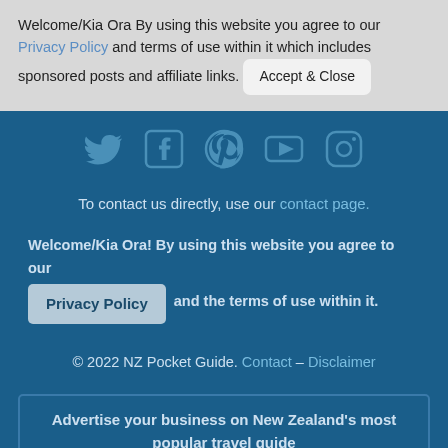Welcome/Kia Ora By using this website you agree to our Privacy Policy and terms of use within it which includes sponsored posts and affiliate links. [Accept & Close]
[Figure (infographic): Social media icons row: Twitter, Facebook, Pinterest, YouTube, Instagram on dark blue background]
To contact us directly, use our contact page.
Welcome/Kia Ora! By using this website you agree to our Privacy Policy and the terms of use within it.
© 2022 NZ Pocket Guide. Contact – Disclaimer
Advertise your business on New Zealand's most popular travel guide